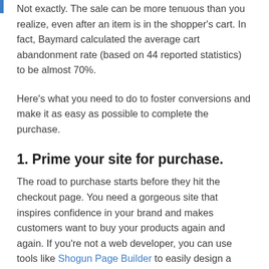Not exactly. The sale can be more tenuous than you realize, even after an item is in the shopper's cart. In fact, Baymard calculated the average cart abandonment rate (based on 44 reported statistics) to be almost 70%.
Here's what you need to do to foster conversions and make it as easy as possible to complete the purchase.
1. Prime your site for purchase.
The road to purchase starts before they hit the checkout page. You need a gorgeous site that inspires confidence in your brand and makes customers want to buy your products again and again. If you're not a web developer, you can use tools like Shogun Page Builder to easily design a beautiful site that entices shoppers to purchase. Shogun is an intuitive drag-and-drop solution for creating and managing page content that lets you design a custom site without relying on coding or developers. And it